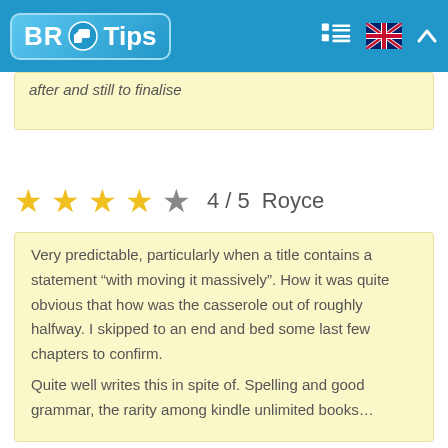BR Tips
after and still to finalise
4 / 5  Royce
Very predictable, particularly when a title contains a statement “with moving it massively”. How it was quite obvious that how was the casserole out of roughly halfway. I skipped to an end and bed some last few chapters to confirm.
Quite well writes this in spite of. Spelling and good grammar, the rarity among kindle unlimited books…